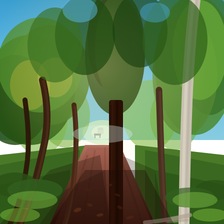[Figure (photo): A sun-dappled park path or tree-lined driveway covered in reddish-brown bark/leaf mulch, flanked by tall trees including a large dark-barked redwood in the center-right and a white-barked eucalyptus on the far right. Green lawn borders both sides of the path, which recedes into the distance where a structure is faintly visible. The scene is bathed in warm autumn sunlight with a blue sky peeking through the dense canopy.]